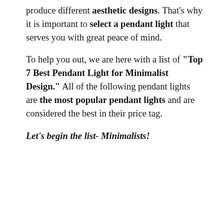produce different aesthetic designs. That's why it is important to select a pendant light that serves you with great peace of mind.
To help you out, we are here with a list of "Top 7 Best Pendant Light for Minimalist Design." All of the following pendant lights are the most popular pendant lights and are considered the best in their price tag.
Let's begin the list- Minimalists!